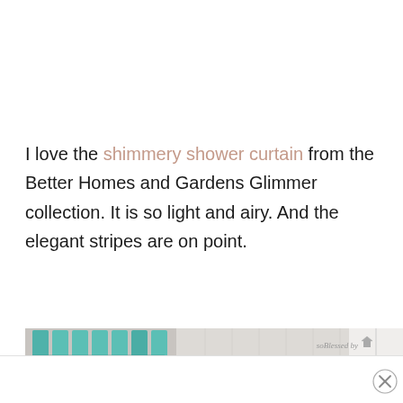I love the shimmery shower curtain from the Better Homes and Gardens Glimmer collection. It is so light and airy. And the elegant stripes are on point.
[Figure (photo): Bathroom photo showing teal wooden boards on wall with metal hooks holding gray towels on the left, a gray and white striped shower curtain in the center, and a white tile wall with toiletries on the right. A watermark reads 'soBlessed by' with a house icon.]